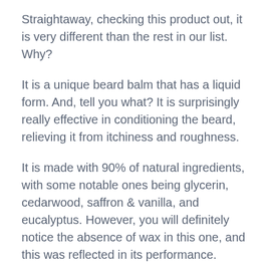Straightaway, checking this product out, it is very different than the rest in our list. Why?
It is a unique beard balm that has a liquid form. And, tell you what? It is surprisingly really effective in conditioning the beard, relieving it from itchiness and roughness.
It is made with 90% of natural ingredients, with some notable ones being glycerin, cedarwood, saffron & vanilla, and eucalyptus. However, you will definitely notice the absence of wax in this one, and this was reflected in its performance.
Let’s start with its texture. It has a thick liquid texture that is very easy to apply all over your beard evenly. After application, you will feel your